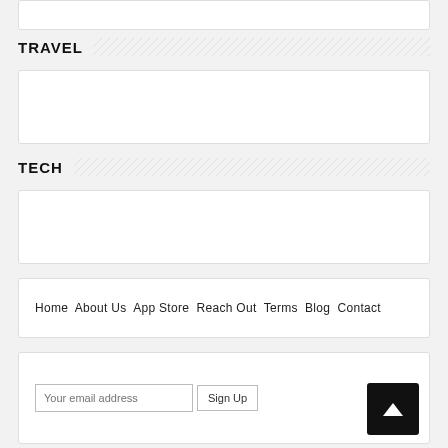[Figure (other): White card/box at the top of the page]
TRAVEL
[Figure (other): White content card below TRAVEL header]
TECH
[Figure (other): White content card below TECH header]
Home About Us App Store Reach Out Terms Blog Contact
Your email address Sign Up